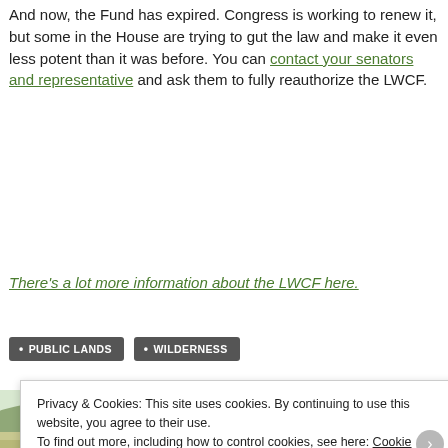And now, the Fund has expired. Congress is working to renew it, but some in the House are trying to gut the law and make it even less potent than it was before. You can contact your senators and representative and ask them to fully reauthorize the LWCF.
There's a lot more information about the LWCF here.
PUBLIC LANDS
WILDERNESS
[Figure (photo): Scenic landscape photo showing trees and mountains in the background with open land in the foreground.]
Privacy & Cookies: This site uses cookies. By continuing to use this website, you agree to their use.
To find out more, including how to control cookies, see here: Cookie Policy
Close and accept